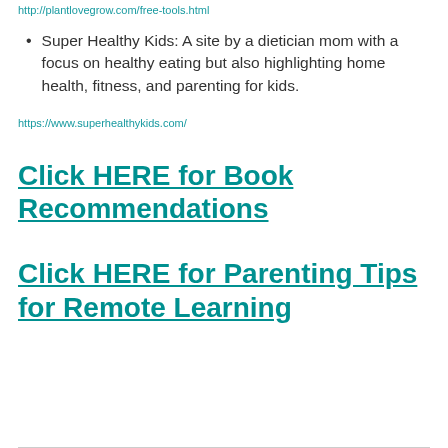http://plantlovegrow.com/free-tools.html
Super Healthy Kids: A site by a dietician mom with a focus on healthy eating but also highlighting home health, fitness, and parenting for kids.
https://www.superhealthykids.com/
Click HERE for Book Recommendations
Click HERE for Parenting Tips for Remote Learning